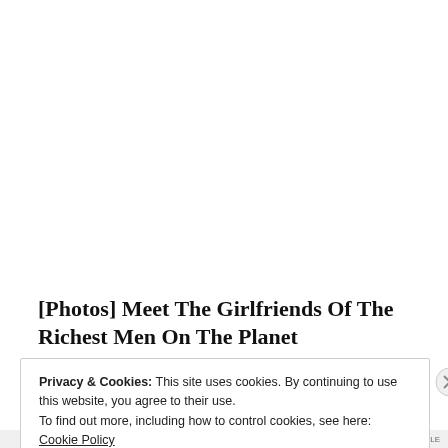[Photos] Meet The Girlfriends Of The Richest Men On The Planet
Bon Voyaged
Privacy & Cookies: This site uses cookies. By continuing to use this website, you agree to their use.
To find out more, including how to control cookies, see here: Cookie Policy
Close and accept